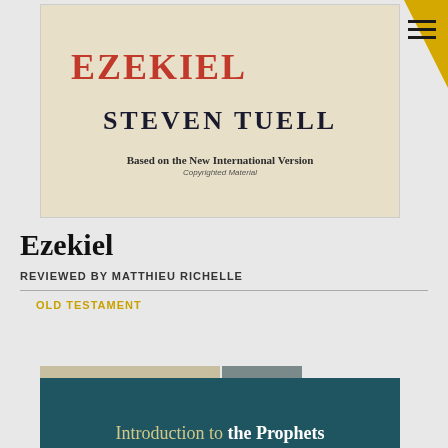[Figure (illustration): Book cover of Ezekiel by Steven Tuell, beige background, red title text EZEKIEL, black author name STEVEN TUELL, subtitle 'Based on the New International Version', 'Copyrighted Material']
Ezekiel
REVIEWED BY MATTHIEU RICHELLE
OLD TESTAMENT
[Figure (illustration): Book cover partially visible, teal/dark green background with text 'Introduction to the Prophets']